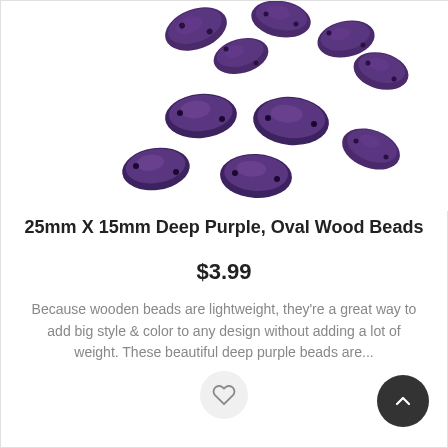[Figure (photo): Multiple oval deep purple wooden beads scattered on white background, showing their textured surface and drilled holes]
25mm X 15mm Deep Purple, Oval Wood Beads
$3.99
Because wooden beads are lightweight, they're a great way to add big style & color to any design without adding a lot of weight. These beautiful deep purple beads are...